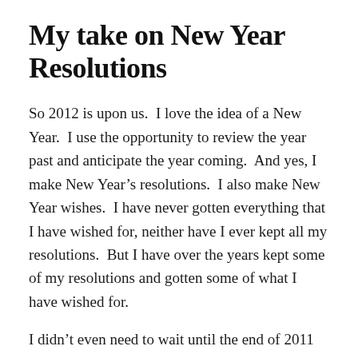My take on New Year Resolutions
So 2012 is upon us.  I love the idea of a New Year.  I use the opportunity to review the year past and anticipate the year coming.  And yes, I make New Year’s resolutions.  I also make New Year wishes.  I have never gotten everything that I have wished for, neither have I ever kept all my resolutions.  But I have over the years kept some of my resolutions and gotten some of what I have wished for.
I didn’t even need to wait until the end of 2011 to conclude that, all in all, it was a pretty good year for me!  I saw my children mature and do well in school.  I have a passion for teaching, and despite sending my resumes hither thither and yon, I ended up, almost overnight it seemed, teaching for a term at an institution that I hadn’t applied to!  That was a